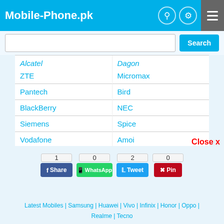Mobile-Phone.pk
| Brand (left) | Brand (right) |
| --- | --- |
| Alcatel | Dagon |
| ZTE | Micromax |
| Pantech | Bird |
| BlackBerry | NEC |
| Siemens | Spice |
| Vodafone | Amoi |
| O2 | T-Mobile |
| Acer | Asus |
| Ericsson | I-mobile |
| Sharp | Gigabyte |
| I-mate | Panasonic |
| VK Mobile | Verykool |
Close x
1  0  2  0
Share | WhatsApp | Tweet | Pin
Latest Mobiles | Samsung | Huawei | Vivo | Infinix | Honor | Oppo | Realme | Tecno